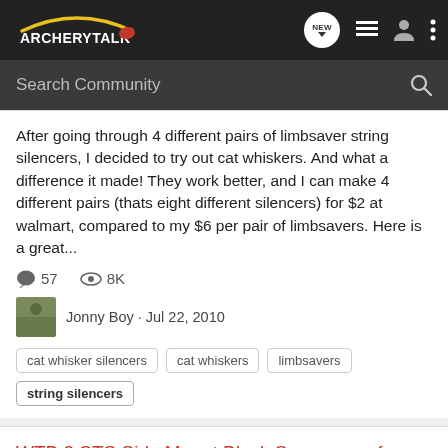ArcheryTalk — NEW [icons]
Search Community
After going through 4 different pairs of limbsaver string silencers, I decided to try out cat whiskers. And what a difference it made! They work better, and I can make 4 different pairs (thats eight different silencers) for $2 at walmart, compared to my $6 per pair of limbsavers. Here is a great...
57  8K  Jonny Boy · Jul 22, 2010
cat whisker silencers  cat whiskers  limbsavers  string silencers
WTB 2 STS Side Mount Black Suppressor for Hoyt
Misc. Items Only Want to Buy or Trade? WTB or WTT